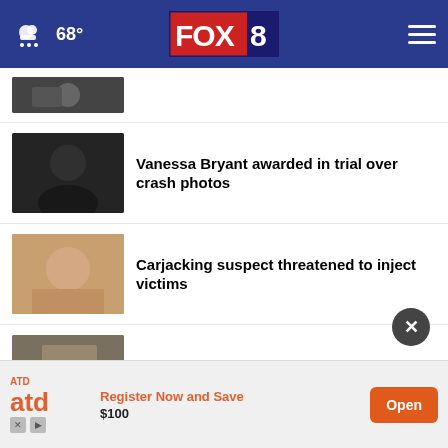FOX 8 — 68°
[Figure (photo): Partial news thumbnail at top, partially cropped]
Vanessa Bryant awarded in trial over crash photos
Carjacking suspect threatened to inject victims
CLE officer shortage on streets, but not city hall
More Stories ▶
[Figure (screenshot): ATD advertisement banner — Register Now and Save $100, Open button]